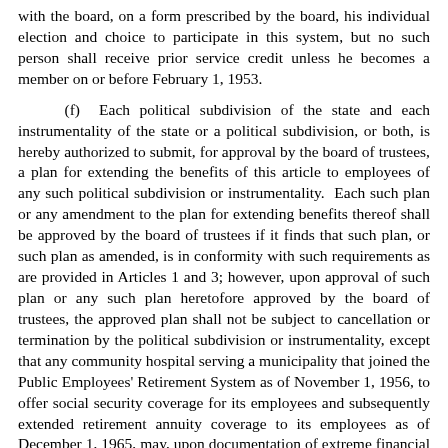with the board, on a form prescribed by the board, his individual election and choice to participate in this system, but no such person shall receive prior service credit unless he becomes a member on or before February 1, 1953.
(f)  Each political subdivision of the state and each instrumentality of the state or a political subdivision, or both, is hereby authorized to submit, for approval by the board of trustees, a plan for extending the benefits of this article to employees of any such political subdivision or instrumentality.  Each such plan or any amendment to the plan for extending benefits thereof shall be approved by the board of trustees if it finds that such plan, or such plan as amended, is in conformity with such requirements as are provided in Articles 1 and 3; however, upon approval of such plan or any such plan heretofore approved by the board of trustees, the approved plan shall not be subject to cancellation or termination by the political subdivision or instrumentality, except that any community hospital serving a municipality that joined the Public Employees' Retirement System as of November 1, 1956, to offer social security coverage for its employees and subsequently extended retirement annuity coverage to its employees as of December 1, 1965, may, upon documentation of extreme financial hardship, have future retirement annuity coverage cancelled or terminated at the discretion of the board of trustees.  No such plan shall be approved unless: